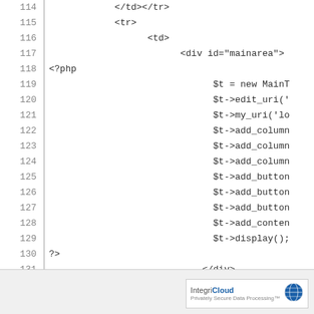[Figure (screenshot): Code listing showing lines 114-138 of a PHP/HTML file with line numbers on the left and code on the right, showing HTML table structure with embedded PHP for a main area div]
IntegriCloud POWERED logo in footer bar